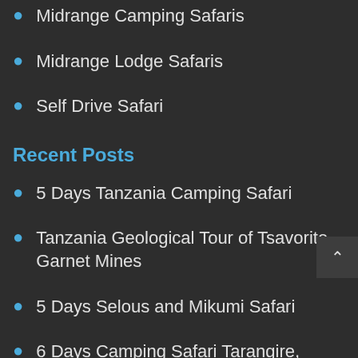Midrange Camping Safaris
Midrange Lodge Safaris
Self Drive Safari
Recent Posts
5 Days Tanzania Camping Safari
Tanzania Geological Tour of Tsavorite Garnet Mines
5 Days Selous and Mikumi Safari
6 Days Camping Safari Tarangire, Lake Natron, Serengeti & Ngorongoro Crater
Self Drive Safaris Tanzania
3 Days Tanzania Camping Safari